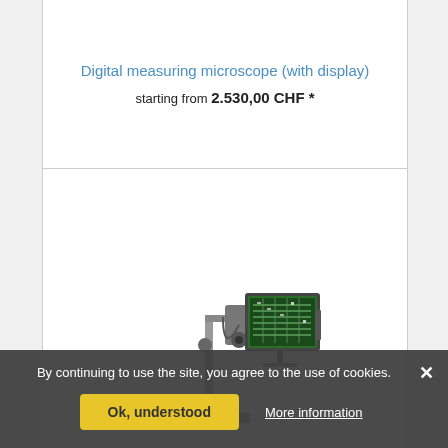Digital measuring microscope (with display)
starting from 2.530,00 CHF *
[Figure (photo): Digital measuring microscope with a display screen showing a circuit board image, mounted on a stand]
By continuing to use the site, you agree to the use of cookies.
Ok, understood
More information